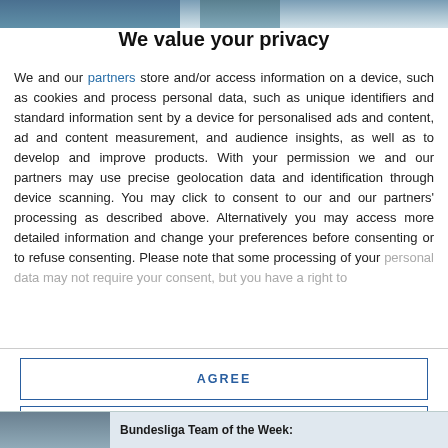[Figure (photo): Top strip showing partial image of a person or scene, partially visible behind the privacy overlay]
We value your privacy
We and our partners store and/or access information on a device, such as cookies and process personal data, such as unique identifiers and standard information sent by a device for personalised ads and content, ad and content measurement, and audience insights, as well as to develop and improve products. With your permission we and our partners may use precise geolocation data and identification through device scanning. You may click to consent to our and our partners' processing as described above. Alternatively you may access more detailed information and change your preferences before consenting or to refuse consenting. Please note that some processing of your personal data may not require your consent, but you have a right to
AGREE
MORE OPTIONS
[Figure (photo): Bottom strip showing partial image with 'Bundesliga Team of the Week:' text label]
Bundesliga Team of the Week: